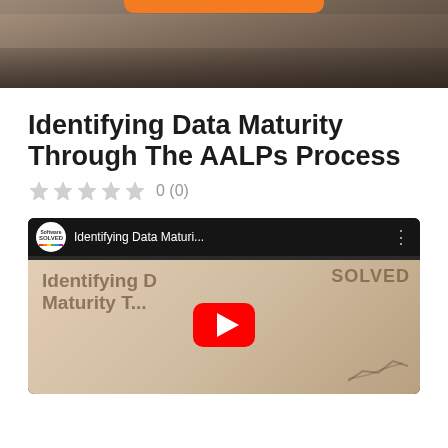[Figure (photo): Photo banner showing a blurred person working, with an orange rounded bar at the top center]
Identifying Data Maturity Through The AALPs Process
0 (0)
[Figure (screenshot): YouTube video thumbnail showing 'Identifying Data Maturi...' from Software Solved channel, with YouTube play button overlay and partial text 'Identifying D... Maturity T...' visible]